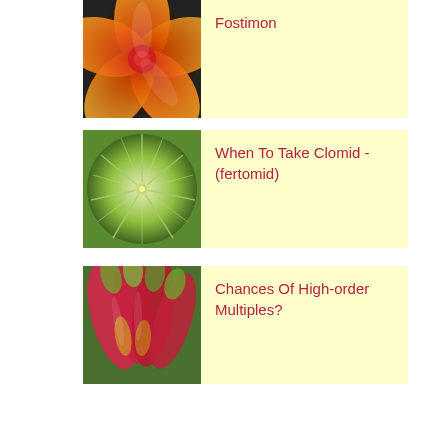[Figure (photo): Orange and red hibiscus flower close-up]
Fostimon
[Figure (photo): Green radial leaf close-up with prominent veins]
When To Take Clomid - (fertomid)
[Figure (photo): Pink and green tropical flower petals close-up, blurred]
Chances Of High-order Multiples?